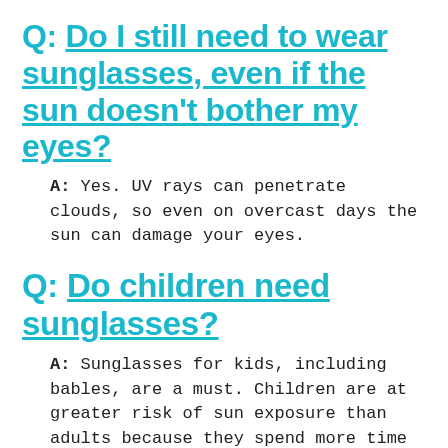Q: Do I still need to wear sunglasses, even if the sun doesn't bother my eyes?
A: Yes. UV rays can penetrate clouds, so even on overcast days the sun can damage your eyes.
Q: Do children need sunglasses?
A: Sunglasses for kids, including bables, are a must. Children are at greater risk of sun exposure than adults because they spend more time in the sun and their eyes are clear, allowing more UV rays to reach the retina. Since UV